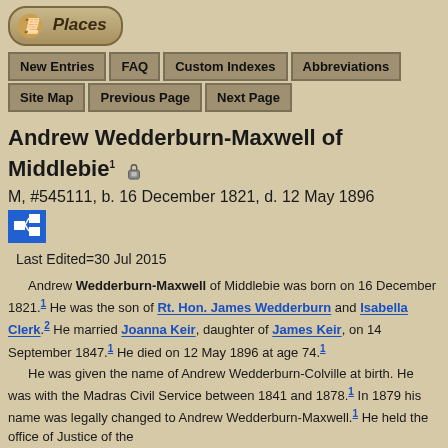Places
New Entries | FAQ | Custom Indexes | Abbreviations | Site Map | Previous Page | Next Page
Andrew Wedderburn-Maxwell of Middlebie
M, #545111, b. 16 December 1821, d. 12 May 1896
Last Edited=30 Jul 2015
Andrew Wedderburn-Maxwell of Middlebie was born on 16 December 1821. He was the son of Rt. Hon. James Wedderburn and Isabella Clerk. He married Joanna Keir, daughter of James Keir, on 14 September 1847. He died on 12 May 1896 at age 74. He was given the name of Andrew Wedderburn-Colville at birth. He was with the Madras Civil Service between 1841 and 1878. In 1879 his name was legally changed to Andrew Wedderburn-Maxwell. He held the office of Justice of the